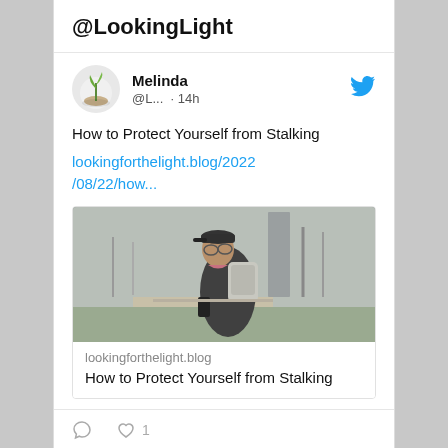@LookingLight
Melinda @L... · 14h
How to Protect Yourself from Stalking
lookingforthelight.blog/2022/08/22/how...
[Figure (photo): Man with backpack and glasses looking back over his shoulder on a city street, holding a phone, bare trees in background]
lookingforthelight.blog
How to Protect Yourself from Stalking